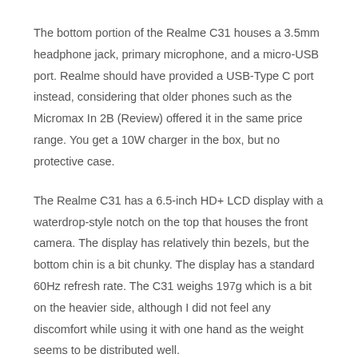The bottom portion of the Realme C31 houses a 3.5mm headphone jack, primary microphone, and a micro-USB port. Realme should have provided a USB-Type C port instead, considering that older phones such as the Micromax In 2B (Review) offered it in the same price range. You get a 10W charger in the box, but no protective case.
The Realme C31 has a 6.5-inch HD+ LCD display with a waterdrop-style notch on the top that houses the front camera. The display has relatively thin bezels, but the bottom chin is a bit chunky. The display has a standard 60Hz refresh rate. The C31 weighs 197g which is a bit on the heavier side, although I did not feel any discomfort while using it with one hand as the weight seems to be distributed well.
Realme C31 specifications and software